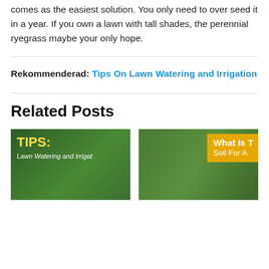comes as the easiest solution. You only need to over seed it in a year. If you own a lawn with tall shades, the perennial ryegrass maybe your only hope.
Rekommenderad: Tips On Lawn Watering and Irrigation
Related Posts
[Figure (photo): Thumbnail image with green grass background, yellow bold text 'TIPS:' and white italic text 'Lawn Watering and Irrigat']
[Figure (photo): Thumbnail image with green grass and soil background, orange/yellow box with white bold text 'What Is T' and 'Soil For A']